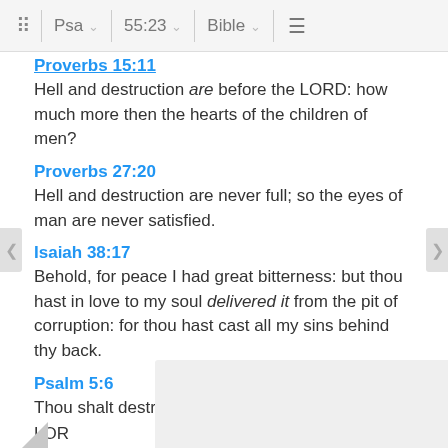Psa  55:23  Bible
Proverbs 15:11
Hell and destruction are before the LORD: how much more then the hearts of the children of men?
Proverbs 27:20
Hell and destruction are never full; so the eyes of man are never satisfied.
Isaiah 38:17
Behold, for peace I had great bitterness: but thou hast in love to my soul delivered it from the pit of corruption: for thou hast cast all my sins behind thy back.
Psalm 5:6
Thou shalt destroy them that speak leasing: the LORD
2 Sa...